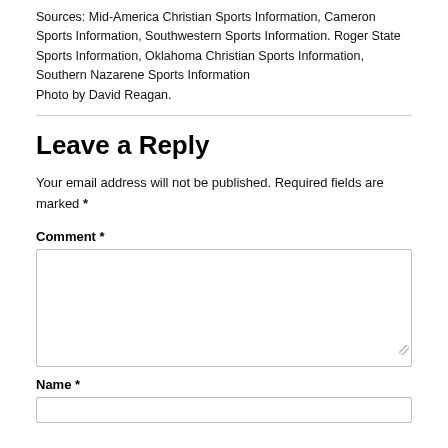Sources: Mid-America Christian Sports Information, Cameron Sports Information, Southwestern Sports Information. Roger State Sports Information, Oklahoma Christian Sports Information, Southern Nazarene Sports Information
Photo by David Reagan.
Leave a Reply
Your email address will not be published. Required fields are marked *
Comment *
Name *